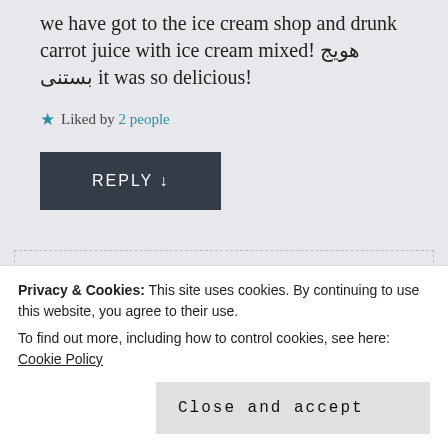we have got to the ice cream shop and drunk carrot juice with ice cream mixed! هویج بستنی it was so delicious!
★ Liked by 2 people
REPLY ↓
[Figure (photo): Avatar photo of Laleh Chini, a woman with short gray/blonde hair]
Laleh Chini
★ Liked by 1 person
Privacy & Cookies: This site uses cookies. By continuing to use this website, you agree to their use. To find out more, including how to control cookies, see here: Cookie Policy
Close and accept